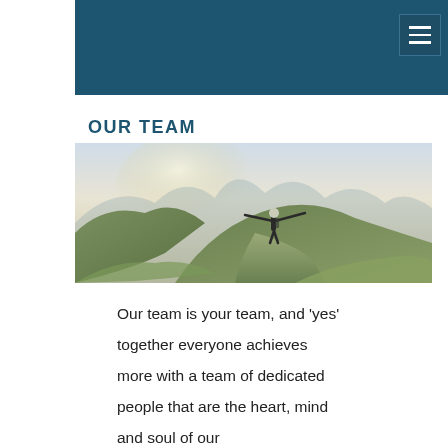OUR TEAM
[Figure (photo): A person standing on a mountain ridge with arms outstretched wide, surrounded by green grassy hills and misty mountain peaks in the background with warm sunlight.]
Our team is your team, and 'yes' together everyone achieves more with a team of dedicated people that are the heart, mind and soul of our